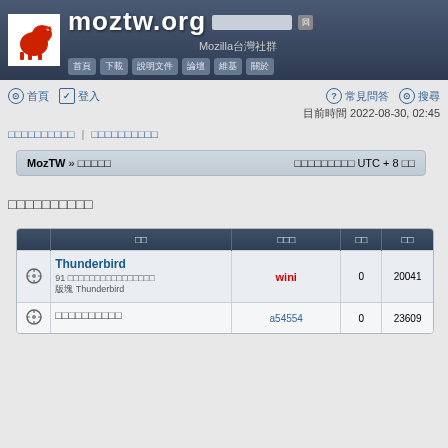[Figure (screenshot): moztw.org Mozilla Taiwan community site header banner with dinosaur logo]
moztw.org Mozilla台灣社群
目前時間 2022-08-30, 02:45
□□□□□□□□□□ | □□□□□□□□□□
MozTW » □□□□□   □□□□□□□□□ UTC + 8 □□
□□□□□□□□□□
|  | □□ | □□□ | □□ | □□ |
| --- | --- | --- | --- | --- |
| ○ | Thunderbird 91 □□□□□□□□□□□□□□ □□ Thunderbird | wini | 0 | 20041 |
| ○ | □□□□□□□□□□ | a54554 | 0 | 23609 |